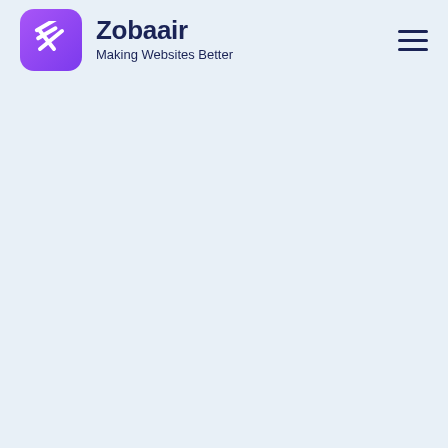Zobaair — Making Websites Better